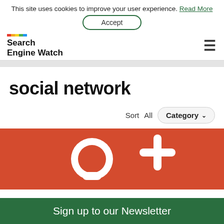This site uses cookies to improve your user experience. Read More
Accept
[Figure (logo): Search Engine Watch logo with colorful bar above text]
social network
Sort  All  Category
[Figure (photo): Google+ logo icon on red/orange background]
Sign up to our Newsletter